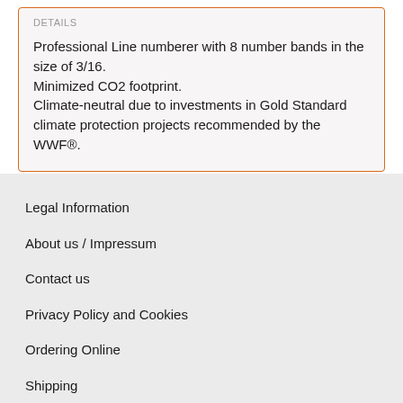DETAILS
Professional Line numberer with 8 number bands in the size of 3/16.
Minimized CO2 footprint.
Climate-neutral due to investments in Gold Standard climate protection projects recommended by the WWF®.
Legal Information
About us / Impressum
Contact us
Privacy Policy and Cookies
Ordering Online
Shipping